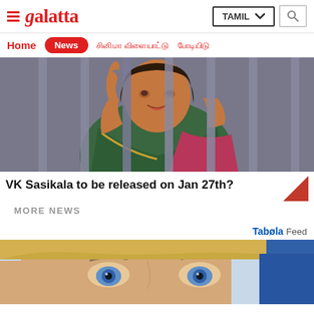Galatta — TAMIL navigation header
[Figure (screenshot): Galatta website screenshot showing logo with hamburger menu, TAMIL language selector dropdown, and search icon]
[Figure (photo): Woman in green and pink saree standing behind prison bars, smiling and raising her hand]
VK Sasikala to be released on Jan 27th?
MORE NEWS
Taboola Feed
[Figure (photo): Close-up portrait of a woman with blue eyes and blonde hair, partially cropped at bottom of page]